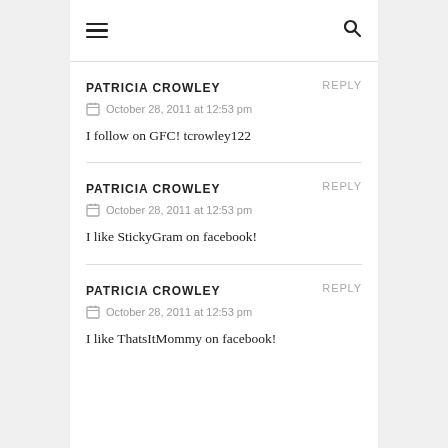☰  🔍
PATRICIA CROWLEY
REPLY
October 28, 2011 at 12:53 pm
I follow on GFC! tcrowley122
PATRICIA CROWLEY
REPLY
October 28, 2011 at 12:53 pm
I like StickyGram on facebook!
PATRICIA CROWLEY
REPLY
October 28, 2011 at 12:53 pm
I like ThatsItMommy on facebook!